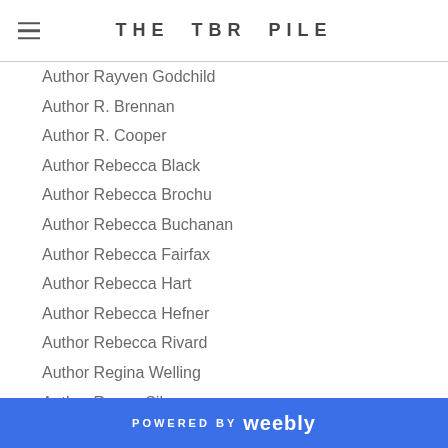THE TBR PILE
Author Rayven Godchild
Author R. Brennan
Author R. Cooper
Author Rebecca Black
Author Rebecca Brochu
Author Rebecca Buchanan
Author Rebecca Fairfax
Author Rebecca Hart
Author Rebecca Hefner
Author Rebecca Rivard
Author Regina Welling
Author Renee Silvana
Author R.G. Thomas
Author Rhidian Brenig Jones
Author Rhonda Frankhouse
Author Rhys Bowen
Author Rhys Ford
POWERED BY weebly